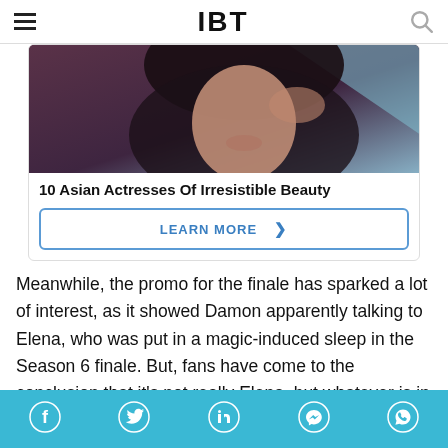IBT
[Figure (photo): Close-up photo of an Asian woman's face with dark hair and dark clothing, used as thumbnail for '10 Asian Actresses Of Irresistible Beauty' article ad]
10 Asian Actresses Of Irresistible Beauty
LEARN MORE >
Meanwhile, the promo for the finale has sparked a lot of interest, as it showed Damon apparently talking to Elena, who was put in a magic-induced sleep in the Season 6 finale. But, fans have come to the conclusion that it's not really Elena, but whatever is in the vault that's pretending to be Elena. There is also a lot
Social share bar: Facebook, Twitter, LinkedIn, Messenger, WhatsApp